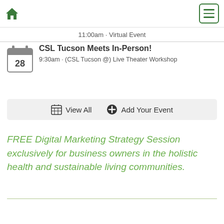Home | Menu
11:00am · Virtual Event
CSL Tucson Meets In-Person!
9:30am · (CSL Tucson @) Live Theater Workshop
View All  Add Your Event
FREE Digital Marketing Strategy Session exclusively for business owners in the holistic health and sustainable living communities.